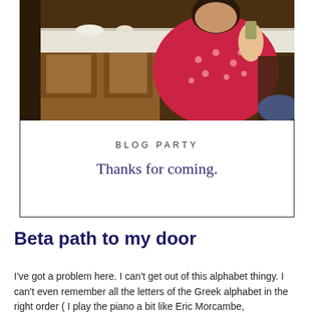[Figure (photo): Photo of a person in a red polka-dot top near a wooden cabinet, holding something, at what appears to be a party or gathering setting.]
BLOG PARTY
Thanks for coming.
Beta path to my door
I've got a problem here. I can't get out of this alphabet thingy. I can't even remember all the letters of the Greek alphabet in the right order ( I play the piano a bit like Eric Morcambe,